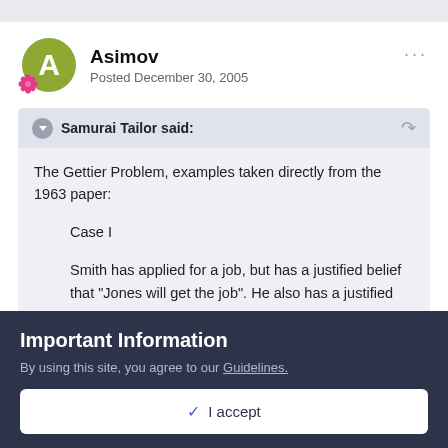Asimov
Posted December 30, 2005
Samurai Tailor said:
The Gettier Problem, examples taken directly from the 1963 paper:
Case I
Smith has applied for a job, but has a justified belief that "Jones will get the job". He also has a justified
Important Information
By using this site, you agree to our Guidelines.
✓ I accept